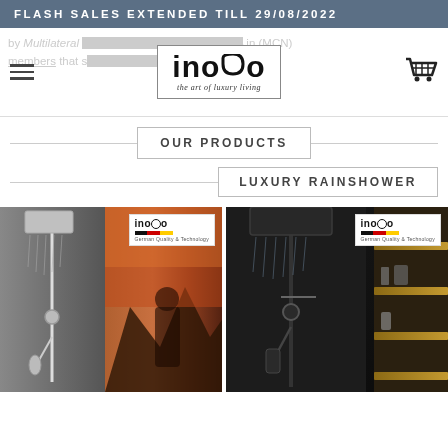FLASH SALES EXTENDED TILL 29/08/2022
[Figure (logo): INOVO logo — 'the art of luxury living' tagline — in a rectangular border, with hamburger menu icon on left and shopping cart on right. Background faint text about multilateral trade members worldwide.]
OUR PRODUCTS
LUXURY RAINSHOWER
[Figure (photo): Two luxury rainshower product photos side by side. Left: chrome rainshower system against sunset mountain background, with INOVO badge with German flag. Right: matte black rainshower system in dark bathroom with wooden shelves, with INOVO badge with German flag.]